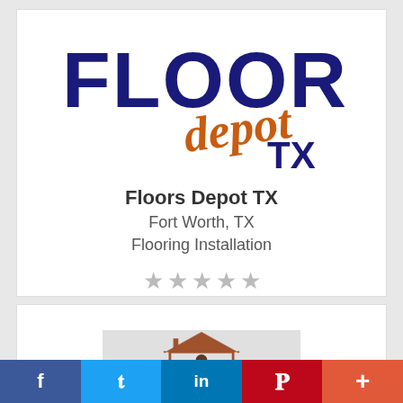[Figure (logo): Floors Depot TX logo — large bold dark blue 'FLOORS' text with orange italic 'depot' script below and bold dark blue 'TX' to the right]
Floors Depot TX
Fort Worth, TX
Flooring Installation
[Figure (other): Five grey star rating icons]
[Figure (illustration): House outline illustration with a person inside, brown roof and walls on grey background]
[Figure (infographic): Social media share bar with Facebook, Twitter, LinkedIn, Pinterest, and More buttons]